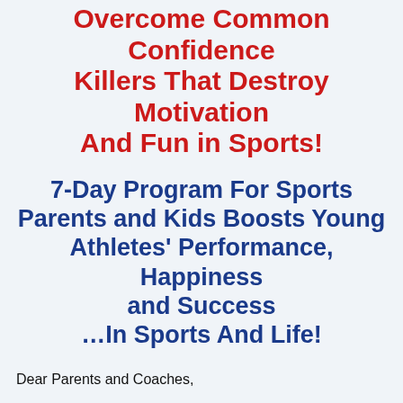Overcome Common Confidence Killers That Destroy Motivation And Fun in Sports!
7-Day Program For Sports Parents and Kids Boosts Young Athletes' Performance, Happiness and Success …In Sports And Life!
Dear Parents and Coaches,
Confidence is the Number One trait that determines whether young athletes achieve their potential in…